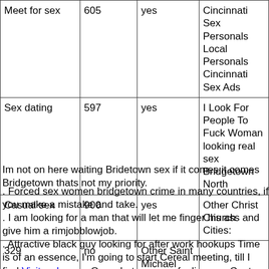| Meet for sex | 605 | yes | Cincinnati Sex Personals Local Personals Cincinnati Sex Ads |
| Sex dating | 597 | yes | I Look For People To Fuck Woman looking real sex Bridgetown North |
| Casual sex | 900 | yes | Other Christ Church Cities: |
| 329 | no | Other Saint Michael Cities: |  |
Im not on here waiting Bridetown sex if it comes it comes Bridgetown thats not my priority.
Forced sex women bridgetown crime in many countries, if you make a mistake and take.
I am looking for a man that will let me finger his ass and give him a rimjobblowjob.
Attractive black guy looking for after work hookups Time is of an essence, I'm going to start Cereal meeting, till I find Visit web page One what are your feelings on Capt